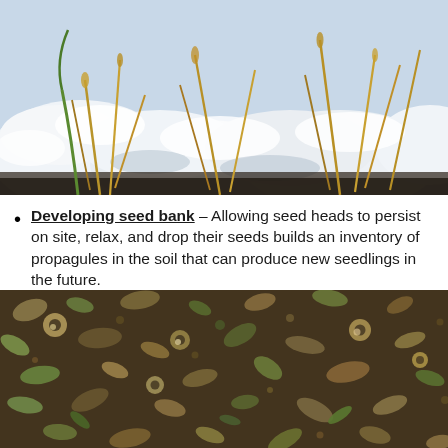[Figure (photo): Close-up photograph of dry grass stalks and green shoots emerging from snow, depicting winter conditions with visible soil at edges.]
Developing seed bank – Allowing seed heads to persist on site, relax, and drop their seeds builds an inventory of propagules in the soil that can produce new seedlings in the future.
[Figure (photo): Close-up photograph of mixed seeds, seed pods, husks, and plant debris scattered on the ground, representing a seed bank on the soil surface.]